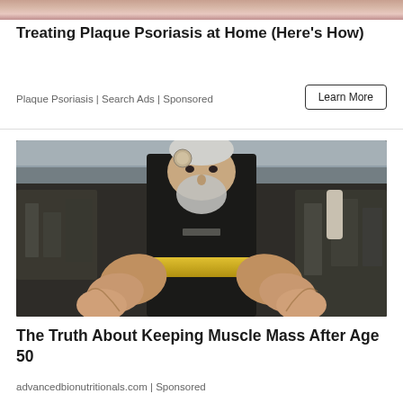[Figure (photo): Partial photo of a person (skin/face visible at top) — cropped at top of ad]
Treating Plaque Psoriasis at Home (Here's How)
Plaque Psoriasis | Search Ads | Sponsored
Learn More
[Figure (photo): Elderly muscular man with white beard wearing a black sleeveless shirt and gold weightlifting belt, standing in a gym with equipment and people in the background, facing the camera with his forearms extended toward the viewer]
The Truth About Keeping Muscle Mass After Age 50
advancedbionutritionals.com | Sponsored